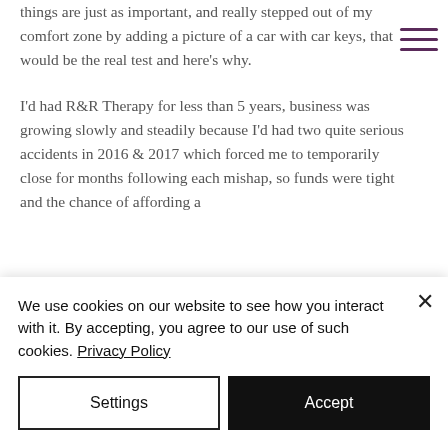things are just as important, and really stepped out of my comfort zone by adding a picture of a car with car keys, that would be the real test and here's why.
I'd had R&R Therapy for less than 5 years, business was growing slowly and steadily because I'd had two quite serious accidents in 2016 & 2017 which forced me to temporarily close for months following each mishap, so funds were tight and the chance of affording a
We use cookies on our website to see how you interact with it. By accepting, you agree to our use of such cookies. Privacy Policy